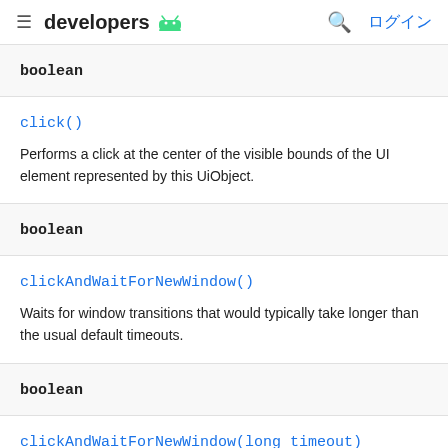developers ログイン
boolean
click()
Performs a click at the center of the visible bounds of the UI element represented by this UiObject.
boolean
clickAndWaitForNewWindow()
Waits for window transitions that would typically take longer than the usual default timeouts.
boolean
clickAndWaitForNewWindow(long timeout)